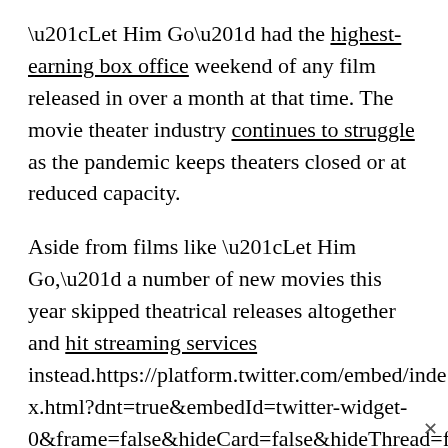“Let Him Go” had the highest-earning box office weekend of any film released in over a month at that time. The movie theater industry continues to struggle as the pandemic keeps theaters closed or at reduced capacity.
Aside from films like “Let Him Go,” a number of new movies this year skipped theatrical releases altogether and hit streaming services instead.https://platform.twitter.com/embed/index.html?dnt=true&embedId=twitter-widget-0&frame=false&hideCard=false&hideThread=false&id=1339933912928235522&lang=en&origin=http